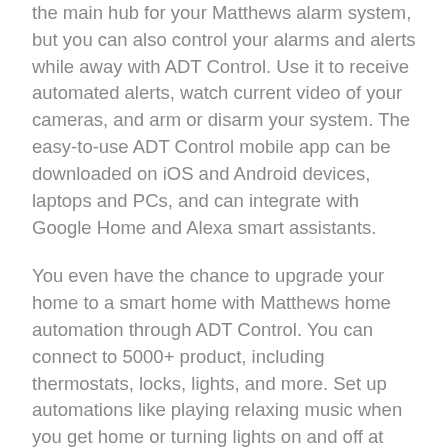the main hub for your Matthews alarm system, but you can also control your alarms and alerts while away with ADT Control. Use it to receive automated alerts, watch current video of your cameras, and arm or disarm your system. The easy-to-use ADT Control mobile app can be downloaded on iOS and Android devices, laptops and PCs, and can integrate with Google Home and Alexa smart assistants.
You even have the chance to upgrade your home to a smart home with Matthews home automation through ADT Control. You can connect to 5000+ product, including thermostats, locks, lights, and more. Set up automations like playing relaxing music when you get home or turning lights on and off at designated times. Home automation can help make your home life easier, help protect your home, and also make your home a lot more